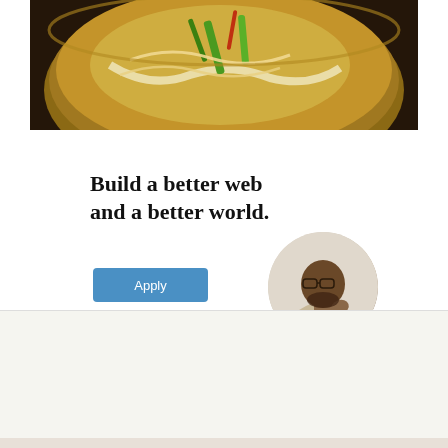[Figure (photo): Close-up photo of a food dish in a rustic ceramic bowl, showing noodles or vegetables with green pepper strips on a dark wooden surface]
Build a better web and a better world.
[Figure (photo): Circular portrait photo of a young Black man with glasses and a beard, wearing a beige t-shirt, sitting in a thoughtful pose]
Privacy & Cookies: This site uses cookies. By continuing to use this website, you agree to their use.
To find out more, including how to control cookies, see here: Cookie Policy
Close and accept